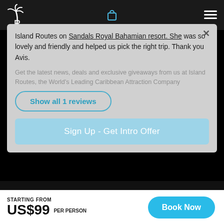[Figure (logo): Island Routes logo (palm tree and R icon, white) in top navigation bar]
Island Routes on Sandals Royal Bahamian resort. She was so lovely and friendly and helped us pick the right trip. Thank you Avis.
Get the latest news, deals and exclusive giveaways from us at Island Routes, the World's Leading Caribbean Attraction Company
Show all 1 reviews
Sign Up - Get Intro Offer
Site Map
STARTING FROM
US$99 PER PERSON
Book Now